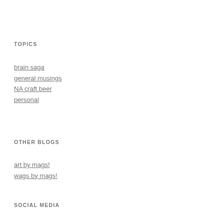TOPICS
brain saga
general musings
NA craft beer
personal
OTHER BLOGS
art by mags!
wags by mags!
SOCIAL MEDIA